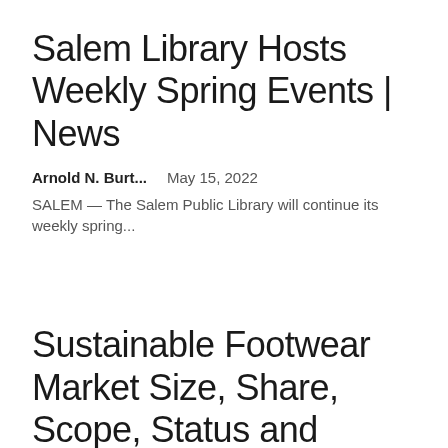Salem Library Hosts Weekly Spring Events | News
Arnold N. Burt...    May 15, 2022
SALEM — The Salem Public Library will continue its weekly spring...
Sustainable Footwear Market Size, Share, Scope, Status and Forecast 2022-2029 — Instant...